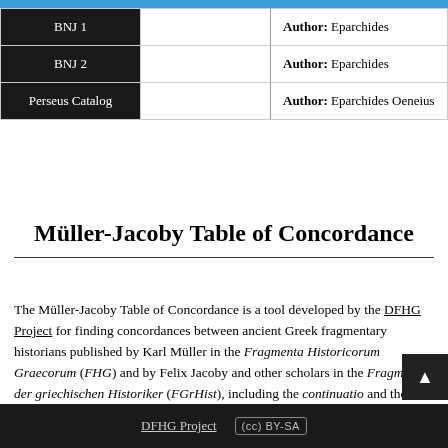|  |  |  |
| --- | --- | --- |
| BNJ 1 |  | Author: Eparchides |
| BNJ 2 |  | Author: Eparchides |
| Perseus Catalog |  | Author: Eparchides Oeneius |
Müller-Jacoby Table of Concordance
The Müller-Jacoby Table of Concordance is a tool developed by the DFHG Project for finding concordances between ancient Greek fragmentary historians published by Karl Müller in the Fragmenta Historicorum Graecorum (FHG) and by Felix Jacoby and other scholars in the Fragmente der griechischen Historiker (FGrHist), including the continuatio and the Brill's New Jacoby (BNJ). * As of December 2021, the Concordance has ingested
DFHG Project  (cc) BY-SA